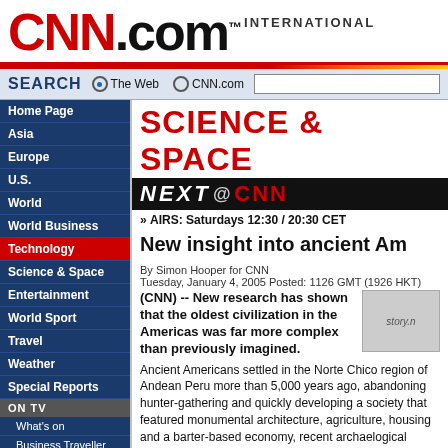[Figure (logo): CNN International .com logo in red and black]
SEARCH  The Web  CNN.com
SCIENCE & SPACE
[Figure (illustration): NEXT @ CNN banner - black background with red and white text]
» AIRS: Saturdays 12:30 / 20:30 CET
New insight into ancient Am...
By Simon Hooper for CNN
Tuesday, January 4, 2005 Posted: 1126 GMT (1926 HKT)
(CNN) -- New research has shown that the oldest civilization in the Americas was far more complex than previously imagined.
Ancient Americans settled in the Norte Chico region of Andean Peru more than 5,000 years ago, abandoning hunter-gathering and quickly developing a society that featured monumental architecture, agriculture, housing and a barter-based economy, recent archaelogical excavations
Home Page
Asia
Europe
U.S.
World
World Business
Technology
Science & Space
Entertainment
World Sport
Travel
Weather
Special Reports
What's on
Business Traveller
Design 360
Global Office
Principal Voices
Spark
Talk Asia
Services